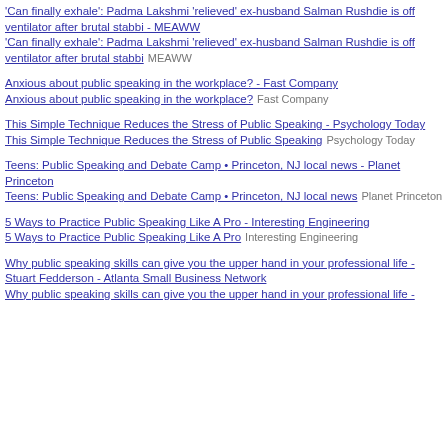'Can finally exhale': Padma Lakshmi 'relieved' ex-husband Salman Rushdie is off ventilator after brutal stabbi - MEAWW
'Can finally exhale': Padma Lakshmi 'relieved' ex-husband Salman Rushdie is off ventilator after brutal stabbi  MEAWW
Anxious about public speaking in the workplace? - Fast Company
Anxious about public speaking in the workplace?  Fast Company
This Simple Technique Reduces the Stress of Public Speaking - Psychology Today
This Simple Technique Reduces the Stress of Public Speaking  Psychology Today
Teens: Public Speaking and Debate Camp • Princeton, NJ local news - Planet Princeton
Teens: Public Speaking and Debate Camp • Princeton, NJ local news  Planet Princeton
5 Ways to Practice Public Speaking Like A Pro - Interesting Engineering
5 Ways to Practice Public Speaking Like A Pro  Interesting Engineering
Why public speaking skills can give you the upper hand in your professional life - Stuart Fedderson - Atlanta Small Business Network
Why public speaking skills can give you the upper hand in your professional life -